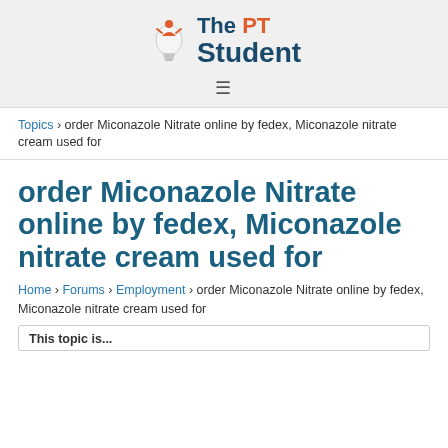[Figure (logo): The PT Student logo with lightbulb icon and person figure on top]
≡
Topics › order Miconazole Nitrate online by fedex, Miconazole nitrate cream used for
order Miconazole Nitrate online by fedex, Miconazole nitrate cream used for
Home › Forums › Employment › order Miconazole Nitrate online by fedex, Miconazole nitrate cream used for
This topic is...